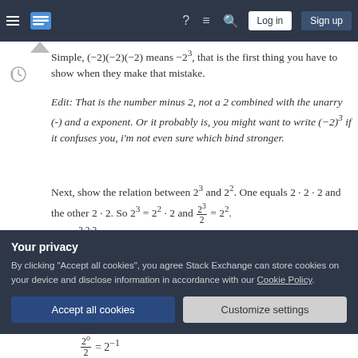Navigation bar with hamburger menu, logo, question mark, list, search, Log in, Sign up
Simple, (−2)(−2)(−2) means −2³, that is the first thing you have to show when they make that mistake.
Edit: That is the number minus 2, not a 2 combined with the unarry (-) and a exponent. Or it probably is, you might want to write (−2)³ if it confuses you, i'm not even sure which bind stronger.
Next, show the relation between 2³ and 2². One equals 2 · 2 · 2 and the other 2 · 2. So 2³ = 2² · 2 and 2³/2 = 2². Also, 2·2·2/2 = 2 · 2
Your privacy
By clicking "Accept all cookies", you agree Stack Exchange can store cookies on your device and disclose information in accordance with our Cookie Policy.
Accept all cookies | Customize settings